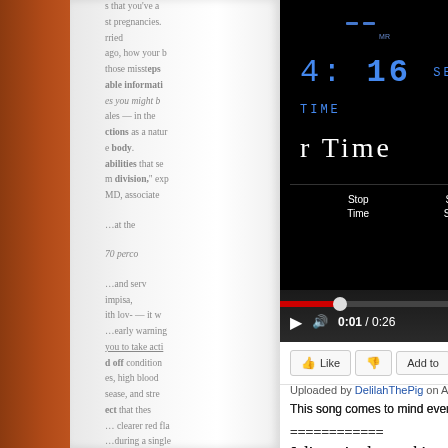[Figure (screenshot): A composite screenshot showing: left side - an open book with blurred text on a wooden surface; right side - a YouTube video player showing an oven timer display reading '4:16' and 'r Time', with controls showing 0:01/0:26, Like/Add to/Share buttons, uploaded by DelilahThePig on Apr 10, 2010, and description text 'This song comes to mind every time I use the ove...'. Below the video: separator line '============' and beginning of text 'Julie noticed something about this cha']
This song comes to mind every time I use the ove
============
Julie noticed something about this cha